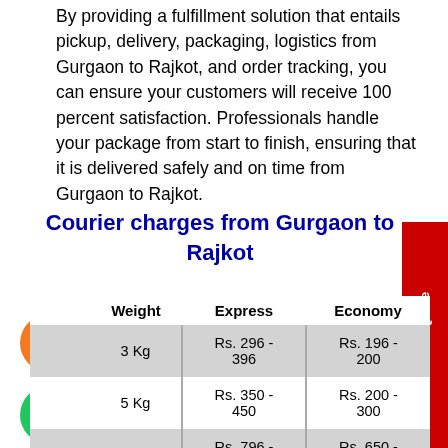By providing a fulfillment solution that entails pickup, delivery, packaging, logistics from Gurgaon to Rajkot, and order tracking, you can ensure your customers will receive 100 percent satisfaction. Professionals handle your package from start to finish, ensuring that it is delivered safely and on time from Gurgaon to Rajkot.
Courier charges from Gurgaon to Rajkot
| Weight | Express | Economy |
| --- | --- | --- |
| 3 Kg | Rs. 296 - 396 | Rs. 196 - 200 |
| 5 Kg | Rs. 350 - 450 | Rs. 200 - 300 |
|  | Rs. 796 - | Rs. 650 - |